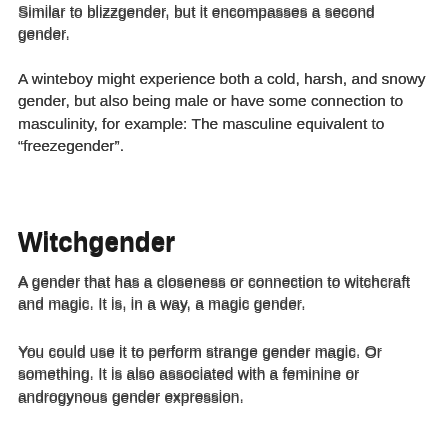Similar to blizzgender, but it encompasses a second gender.
A winteboy might experience both a cold, harsh, and snowy gender, but also being male or have some connection to masculinity, for example: The masculine equivalent to “freezegender”.
Witchgender
A gender that has a closeness or connection to witchcraft and magic. It is, in a way, a magic gender.
You could use it to perform strange gender magic. Or something. It is also associated with a feminine or androgynous gender expression.
Xenogender Carrd
Xenogender carrd are various pages with information about what types of Xenogenders